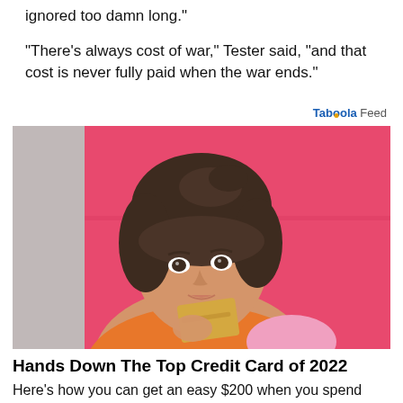ignored too damn long."
"There's always cost of war," Tester said, "and that cost is never fully paid when the war ends."
[Figure (photo): Young woman with dark hair and bangs, holding a gold/yellow credit card, standing in front of a pink background, wearing an orange top. Taboola Feed advertisement photo.]
Hands Down The Top Credit Card of 2022
Here's how you can get an easy $200 when you spend